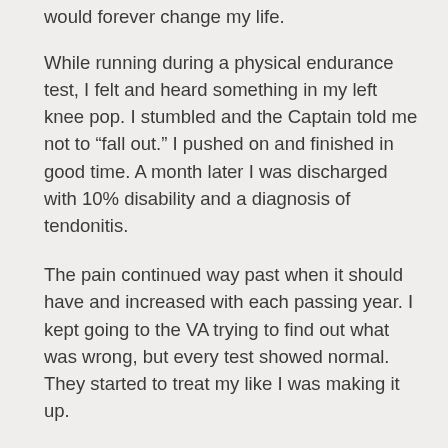would forever change my life.
While running during a physical endurance test, I felt and heard something in my left knee pop. I stumbled and the Captain told me not to “fall out.” I pushed on and finished in good time. A month later I was discharged with 10% disability and a diagnosis of tendonitis.
The pain continued way past when it should have and increased with each passing year. I kept going to the VA trying to find out what was wrong, but every test showed normal. They started to treat my like I was making it up.
Long story short, after 21 years of nothing, I demanded to see orthopedics again. I told them I was not leaving until I did. During the exam, she tried to test the reflexes in my knees. At this point they were both bad and I cried and begged her not to. She said she had only seen that one other time and sent me to pain management where I was